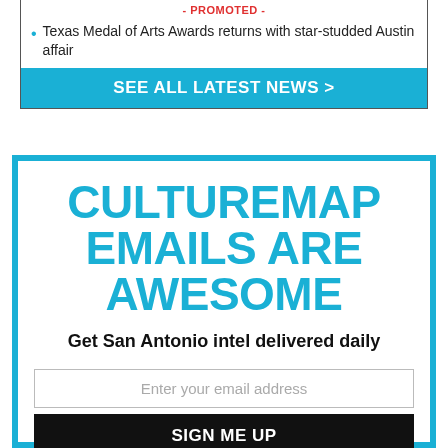- PROMOTED -
Texas Medal of Arts Awards returns with star-studded Austin affair
SEE ALL LATEST NEWS >
CULTUREMAP EMAILS ARE AWESOME
Get San Antonio intel delivered daily
Enter your email address
SIGN ME UP
We will not share or sell your email address.